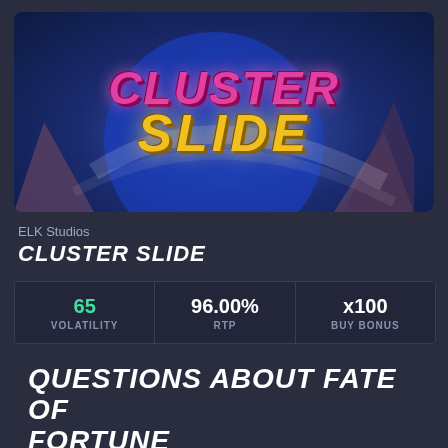[Figure (illustration): Cluster Slide slot game logo with fuzzy pink monster letters spelling CLUSTER and gold metallic letters spelling SLIDE, set against a deep blue cosmic background]
ELK Studios
CLUSTER SLIDE
| VOLATILITY | RTP | BUY BONUS |
| --- | --- | --- |
| 65 | 96.00% | x100 |
QUESTIONS ABOUT FATE OF FORTUNE